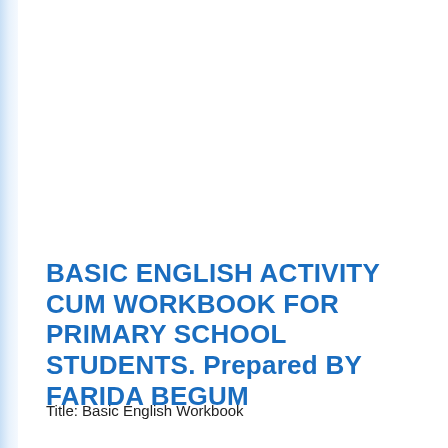BASIC ENGLISH ACTIVITY CUM WORKBOOK FOR PRIMARY SCHOOL STUDENTS. Prepared BY FARIDA BEGUM
Title: Basic English Workbook